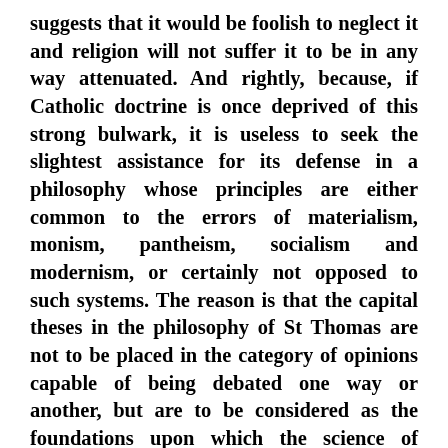suggests that it would be foolish to neglect it and religion will not suffer it to be in any way attenuated. And rightly, because, if Catholic doctrine is once deprived of this strong bulwark, it is useless to seek the slightest assistance for its defense in a philosophy whose principles are either common to the errors of materialism, monism, pantheism, socialism and modernism, or certainly not opposed to such systems. The reason is that the capital theses in the philosophy of St Thomas are not to be placed in the category of opinions capable of being debated one way or another, but are to be considered as the foundations upon which the science of natural and divine things is based; if such principles are once removed or in any way impaired, it must necessarily follow that students of the sacred sciences will ultimately fail to perceive so much as the meaning of the words in which the dogmas of divine revelation are proposed by the